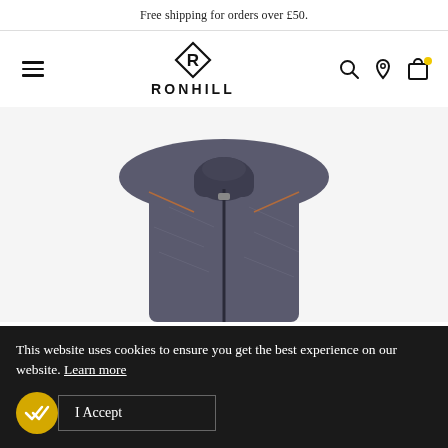Free shipping for orders over £50.
[Figure (logo): Ronhill logo with diamond-shaped R icon and RONHILL wordmark, plus navigation icons: hamburger menu, search, location, bag with yellow dot]
[Figure (photo): Grey marl running jacket with half-zip collar and orange seam details, shown from torso up on white background]
This website uses cookies to ensure you get the best experience on our website. Learn more
I Accept